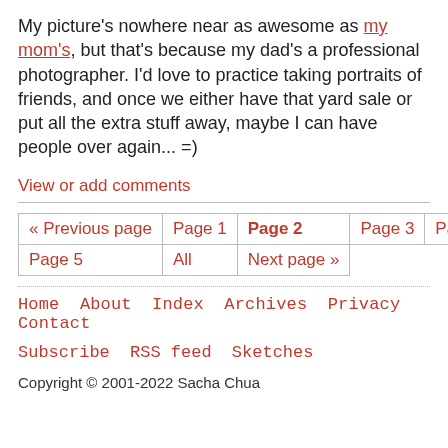My picture's nowhere near as awesome as my mom's, but that's because my dad's a professional photographer. I'd love to practice taking portraits of friends, and once we either have that yard sale or put all the extra stuff away, maybe I can have people over again... =)
View or add comments
| « Previous page | Page 1 | Page 2 | Page 3 | Page 4 |
| Page 5 | All | Next page » |
Home  About  Index  Archives  Privacy  Contact  Subscribe  RSS feed  Sketches
Copyright © 2001-2022 Sacha Chua